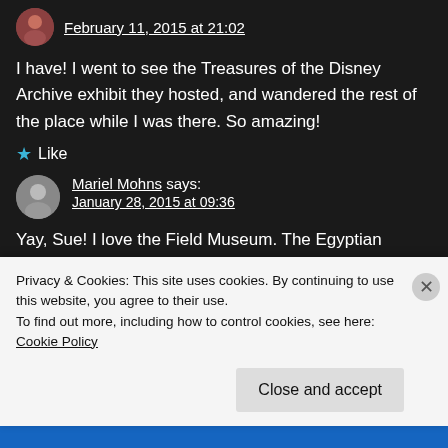February 11, 2015 at 21:02
I have! I went to see the Treasures of the Disney Archive exhibit they hosted, and wandered the rest of the place while I was there. So amazing!
★ Like
Mariel Mohns says: January 28, 2015 at 09:36
Yay, Sue! I love the Field Museum. The Egyptian
Privacy & Cookies: This site uses cookies. By continuing to use this website, you agree to their use.
To find out more, including how to control cookies, see here: Cookie Policy
Close and accept